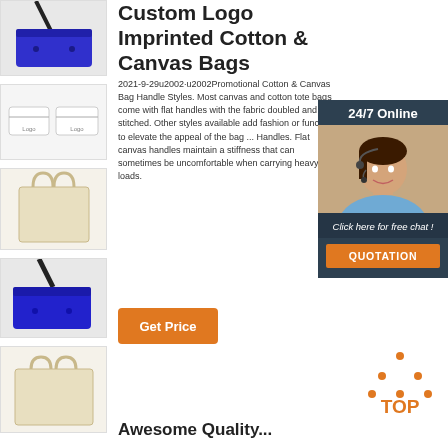[Figure (photo): Blue canvas shoulder bag with black strap, thumbnail 1]
[Figure (photo): Two small white canvas pouches with logo, thumbnail 2]
[Figure (photo): Natural/cream canvas tote bag, thumbnail 3]
[Figure (photo): Blue canvas shoulder bag with black strap, thumbnail 4]
[Figure (photo): Natural/cream canvas tote bag with short handles, thumbnail 5]
Custom Logo Imprinted Cotton & Canvas Bags
2021-9-29u2002·u2002Promotional Cotton & Canvas Bag Handle Styles. Most canvas and cotton tote bags come with flat handles with the fabric doubled and stitched. Other styles available add fashion or function to elevate the appeal of the bag ... Handles. Flat canvas handles maintain a stiffness that can sometimes be uncomfortable when carrying heavy loads.
[Figure (infographic): 24/7 Online chat widget with agent photo, 'Click here for free chat!' label and QUOTATION button]
[Figure (infographic): TOP navigation button with orange dot triangle icon]
Awesome Quality...